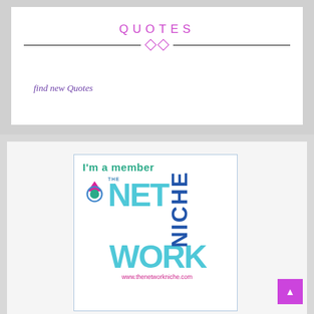QUOTES
find new Quotes
[Figure (logo): The Network Niche membership badge logo with 'I'm a member THE NETWORK NICHE www.thenetworkniche.com']